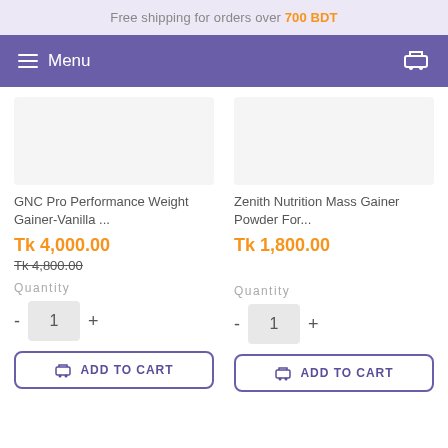Free shipping for orders over 700 BDT
Menu
GNC Pro Performance Weight Gainer-Vanilla ...
Tk 4,000.00
Tk 4,800.00
Quantity
1
ADD TO CART
Zenith Nutrition Mass Gainer Powder For...
Tk 1,800.00
Quantity
1
ADD TO CART